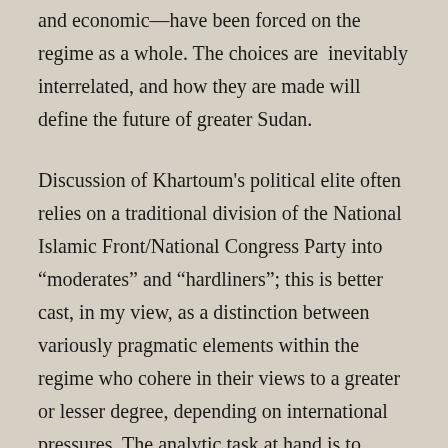and economic—have been forced on the regime as a whole. The choices are inevitably interrelated, and how they are made will define the future of greater Sudan.
Discussion of Khartoum's political elite often relies on a traditional division of the National Islamic Front/National Congress Party into “moderates” and “hardliners”; this is better cast, in my view, as a distinction between variously pragmatic elements within the regime who cohere in their views to a greater or lesser degree, depending on international pressures. The analytic task at hand is to capture how current economic circumstances will govern the survivalist political instincts that are common to all these ruthless men. The advantage of a focus on “pragmatism” is that it highlights how “unpragmatic” so many recent actions and decisions have been in the economic sphere, and how these decisions actually increase the threat to regime survival. These brutal men may control the press, the news media, the security